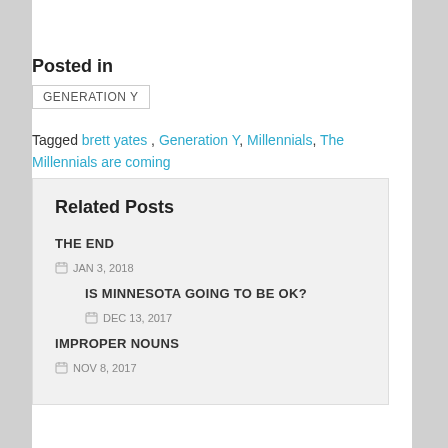Posted in
GENERATION Y
Tagged brett yates, Generation Y, Millennials, The Millennials are coming
Related Posts
THE END
JAN 3, 2018
IS MINNESOTA GOING TO BE OK?
DEC 13, 2017
IMPROPER NOUNS
NOV 8, 2017